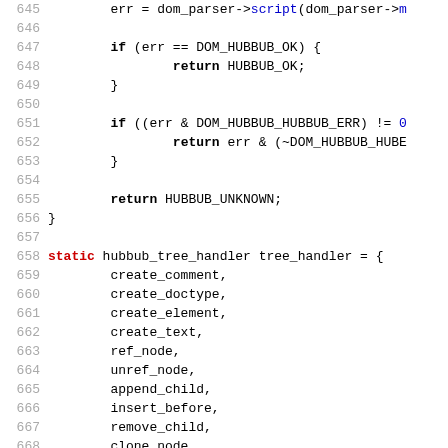Source code listing lines 645-674 showing C code with hubbub parser and tree handler initialization